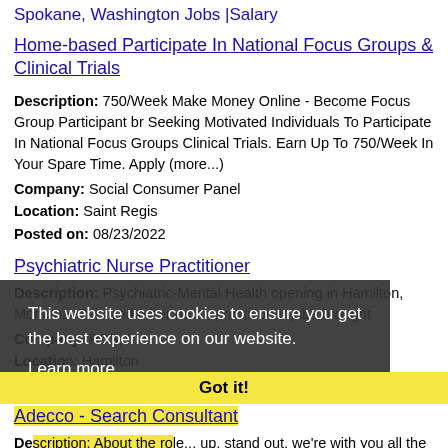Spokane, Washington Jobs |Salary
Home-based Participate In National Focus Groups & Clinical Trials
Description: 750/Week Make Money Online - Become Focus Group Participant br Seeking Motivated Individuals To Participate In National Focus Groups Clinical Trials. Earn Up To 750/Week In Your Spare Time. Apply (more...)
Company: Social Consumer Panel
Location: Saint Regis
Posted on: 08/23/2022
Psychiatric Nurse Practitioner
Description: Psychiatric-Mental Health opening in Hamilton, Montana. This and other nurse practitioner jobs brought
Company: PCS, Inc
Location: Hamilton
Posted on: 08/23/2022
Adecco - Search Consultant
Description: About the role... up, stand out, we're with you all the way. br br Your own customer portfolio. Direct remit for sales and revenue growth. And real variety along with huge scope to create new direct (more...)
This website uses cookies to ensure you get the best experience on our website.
Learn more
Got it!